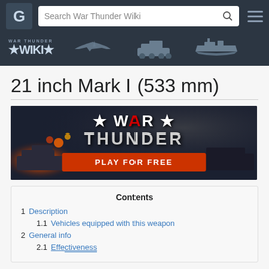[Figure (screenshot): War Thunder Wiki navigation bar with logo, search box, and hamburger menu on dark background]
[Figure (screenshot): War Thunder Wiki sub-navigation bar with Wiki logo and silhouette icons for aircraft, tank, and ship]
21 inch Mark I (533 mm)
[Figure (photo): War Thunder promotional banner showing tanks and explosions with 'WAR THUNDER' text and 'PLAY FOR FREE' red button]
Contents
1 Description
1.1 Vehicles equipped with this weapon
2 General info
2.1 Effectiveness